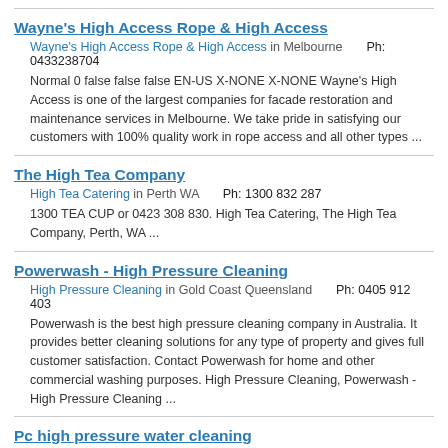Wayne's High Access Rope & High Access
Wayne's High Access Rope & High Access in Melbourne    Ph: 0433238704
Normal 0 false false false EN-US X-NONE X-NONE Wayne's High Access is one of the largest companies for facade restoration and maintenance services in Melbourne. We take pride in satisfying our customers with 100% quality work in rope access and all other types ...
The High Tea Company
High Tea Catering in Perth WA    Ph: 1300 832 287
1300 TEA CUP or 0423 308 830. High Tea Catering, The High Tea Company, Perth, WA ...
Powerwash - High Pressure Cleaning
High Pressure Cleaning in Gold Coast Queensland    Ph: 0405 912 403
Powerwash is the best high pressure cleaning company in Australia. It provides better cleaning solutions for any type of property and gives full customer satisfaction. Contact Powerwash for home and other commercial washing purposes. High Pressure Cleaning, Powerwash - High Pressure Cleaning ...
Pc high pressure water cleaning
High Pressure Cleaner Sydney in nsw    Ph: 0404711438